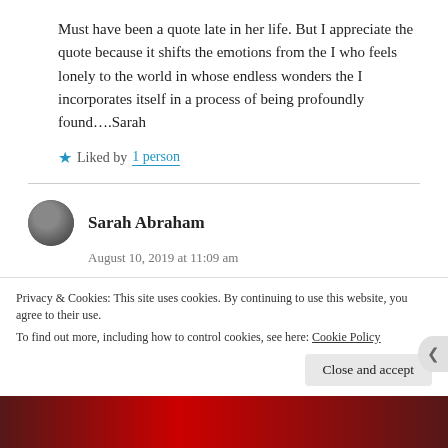Must have been a quote late in her life. But I appreciate the quote because it shifts the emotions from the I who feels lonely to the world in whose endless wonders the I incorporates itself in a process of being profoundly found....Sarah
Liked by 1 person
Sarah Abraham
August 10, 2019 at 11:09 am
Just there between the I breathing and the I
Privacy & Cookies: This site uses cookies. By continuing to use this website, you agree to their use. To find out more, including how to control cookies, see here: Cookie Policy
Close and accept